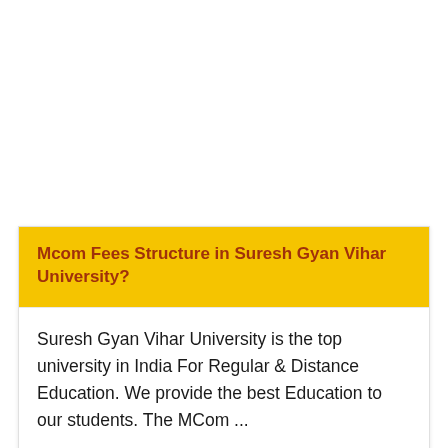Mcom Fees Structure in Suresh Gyan Vihar University?
Suresh Gyan Vihar University is the top university in India For Regular & Distance Education. We provide the best Education to our students. The MCom ...
By: Aryajindal
18 Aug 2022 05:01 pm